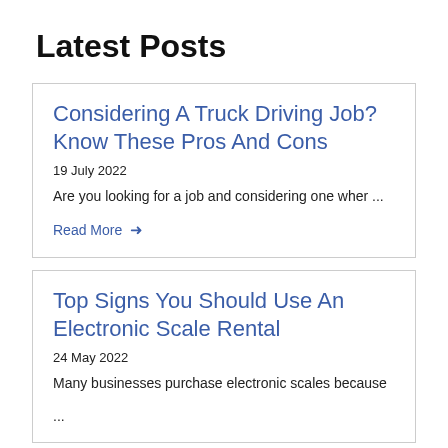Latest Posts
Considering A Truck Driving Job? Know These Pros And Cons
19 July 2022
Are you looking for a job and considering one wher ...
Read More →
Top Signs You Should Use An Electronic Scale Rental
24 May 2022
Many businesses purchase electronic scales because
...